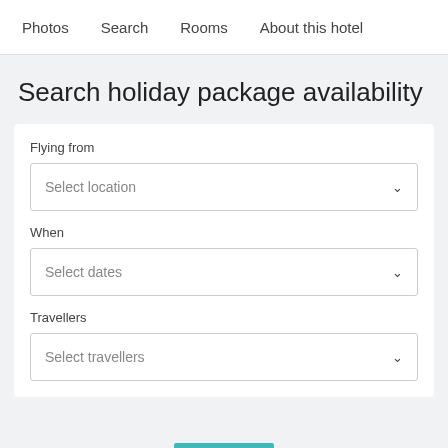Photos   Search   Rooms   About this hotel
Search holiday package availability
Flying from
Select location
When
Select dates
Travellers
Select travellers